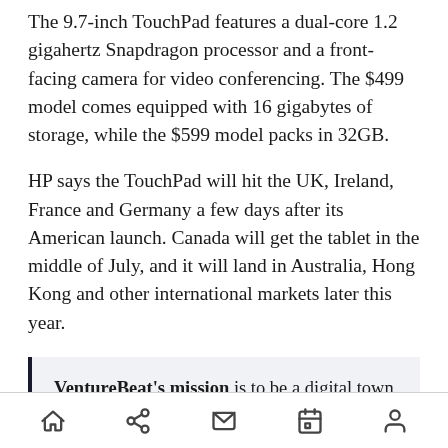The 9.7-inch TouchPad features a dual-core 1.2 gigahertz Snapdragon processor and a front-facing camera for video conferencing. The $499 model comes equipped with 16 gigabytes of storage, while the $599 model packs in 32GB.
HP says the TouchPad will hit the UK, Ireland, France and Germany a few days after its American launch. Canada will get the tablet in the middle of July, and it will land in Australia, Hong Kong and other international markets later this year.
VentureBeat's mission is to be a digital town square for technical decision-makers to gain knowledge about transformative enterprise